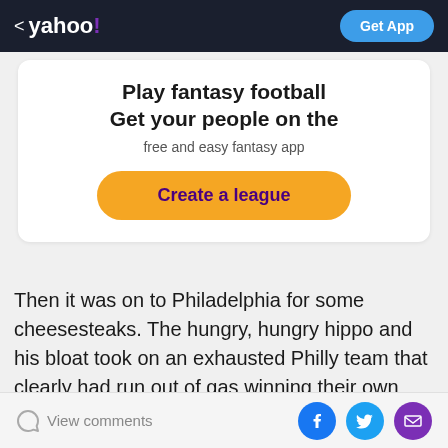< yahoo!  Get App
[Figure (infographic): Yahoo Fantasy Football promotional banner with 'Play fantasy football Get your people on the free and easy fantasy app' text and 'Create a league' button]
Then it was on to Philadelphia for some cheesesteaks. The hungry, hungry hippo and his bloat took on an exhausted Philly team that clearly had run out of gas winning their own Cup by beating the Penguins. And yet they still needed two-time Devil Brendan Shanahan to kick out Giroux so they could advance to the conference
View comments